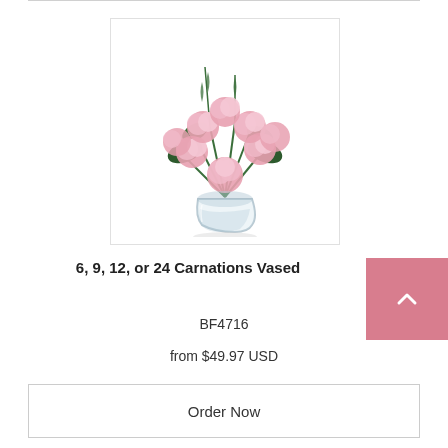[Figure (photo): Pink carnations arranged in a clear glass vase with green foliage]
6, 9, 12, or 24 Carnations Vased
BF4716
from $49.97 USD
Order Now